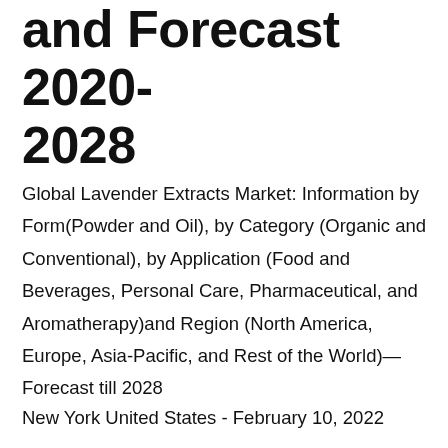and Forecast 2020-2028
Global Lavender Extracts Market: Information by Form(Powder and Oil), by Category (Organic and Conventional), by Application (Food and Beverages, Personal Care, Pharmaceutical, and Aromatherapy)and Region (North America, Europe, Asia-Pacific, and Rest of the World)—Forecast till 2028
New York United States - February 10, 2022